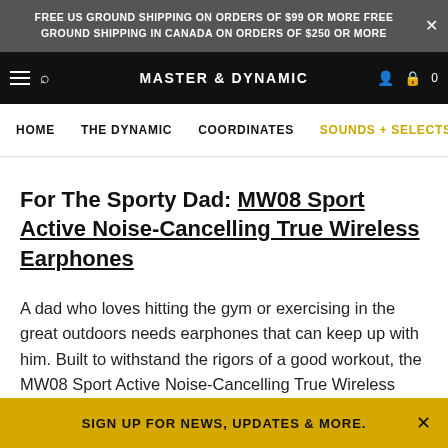FREE US GROUND SHIPPING ON ORDERS OF $99 OR MORE FREE GROUND SHIPPING IN CANADA ON ORDERS OF $250 OR MORE
MASTER & DYNAMIC
HOME  THE DYNAMIC  COORDINATES  SOUNDS + SELECTS  KN
For The Sporty Dad: MW08 Sport Active Noise-Cancelling True Wireless Earphones
A dad who loves hitting the gym or exercising in the great outdoors needs earphones that can keep up with him. Built to withstand the rigors of a good workout, the MW08 Sport Active Noise-Cancelling True Wireless Earphones are the ideal earphone gift
SIGN UP FOR NEWS, UPDATES & MORE.